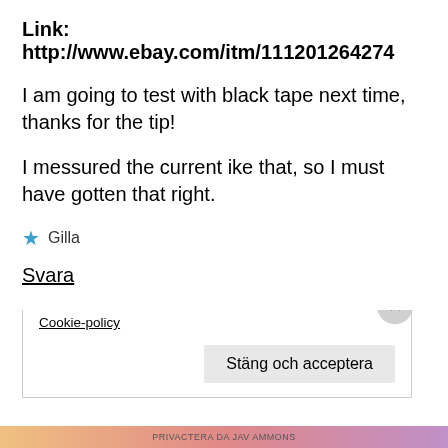Link: http://www.ebay.com/itm/111201264274
I am going to test with black tape next time, thanks for the tip!
I messured the current ike that, so I must have gotten that right.
★ Gilla
Svara
Integritet och cookies: Den här webbplatsen använder cookies. Genom att fortsätta använda den här webbplatsen godkänner du deras användning.
Om du vill veta mer, inklusive hur du kontrollerar cookies, se: Cookie-policy
Stäng och acceptera